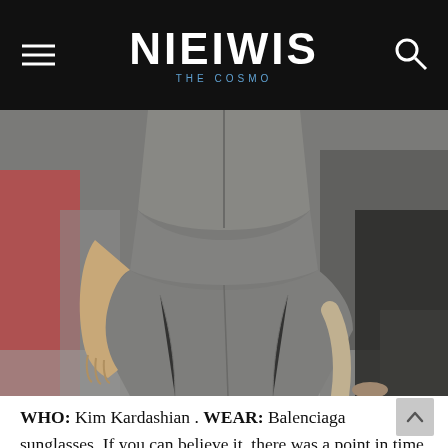NIEIWIS
[Figure (photo): Close-up photo of a person wearing a tight grey jumpsuit/bodysuit, showing torso and hips area, crowd visible in background]
WHO: Kim Kardashian . WEAR: Balenciaga sunglasses. If you can believe it, there was a point in time when activewear wasn't seen as "acceptable" everyday apparel. But as celebrities championed athleisure attire and luxury house Bottega Veneta, Louis Vuitton, and Balenciaga embraced